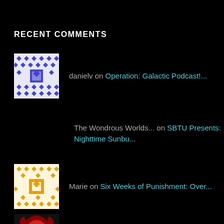RECENT COMMENTS
danielv on Operation: Galactic Podcast!...
The Wondrous Worlds... on SBTU Presents: Nighttime Sunbu...
Marie on Six Weeks of Punishment: Over...
symbifan777 on The Armageddon Agenda (part 1)...
Robin on The Armageddon Agenda (part 1)...